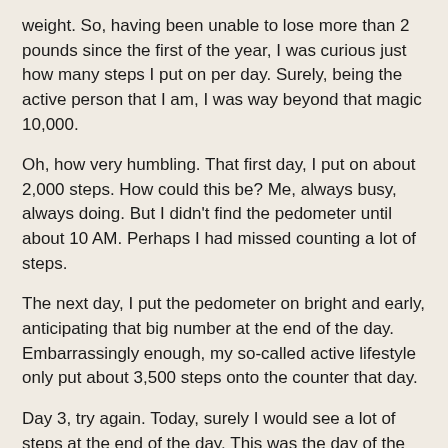weight. So, having been unable to lose more than 2 pounds since the first of the year, I was curious just how many steps I put on per day. Surely, being the active person that I am, I was way beyond that magic 10,000.
Oh, how very humbling. That first day, I put on about 2,000 steps. How could this be? Me, always busy, always doing. But I didn't find the pedometer until about 10 AM. Perhaps I had missed counting a lot of steps.
The next day, I put the pedometer on bright and early, anticipating that big number at the end of the day. Embarrassingly enough, my so-called active lifestyle only put about 3,500 steps onto the counter that day.
Day 3, try again. Today, surely I would see a lot of steps at the end of the day. This was the day of the week that I babysit 6 very active little boys for 3 hours. You would think all the chasing around would really boost that number. Not exactly. Better, but still just a little over 5000 steps. I am getting no where, in a hurry. It's no wonder I've only lost 2 pounds since January.